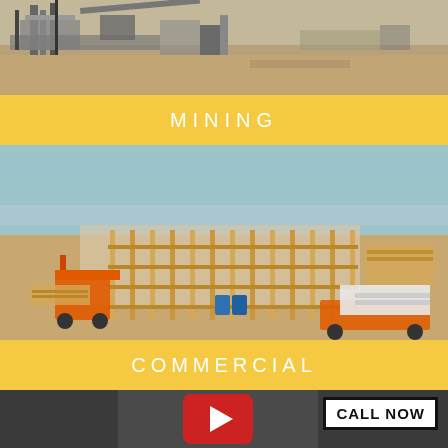[Figure (photo): Aerial view of a mining facility with industrial equipment and structures in a desert setting]
MINING
[Figure (photo): Aerial view of a commercial construction site showing wood framing structure, orange boom lift, and construction equipment in a desert urban area]
COMMERCIAL
[Figure (photo): Dark background with YouTube-style red play button thumbnail]
CALL NOW